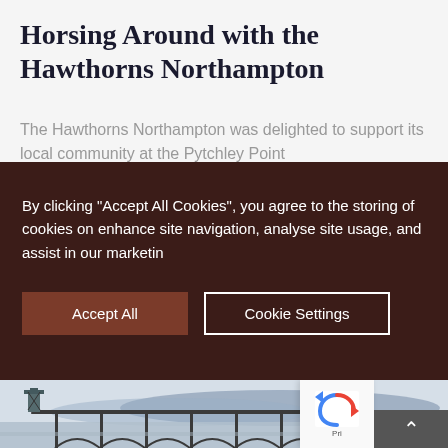Horsing Around with the Hawthorns Northampton
The Hawthorns Northampton was delighted to support its local community at the Pytchley Point
By clicking "Accept All Cookies", you agree to the storing of cookies on enhance site navigation, analyse site usage, and assist in our marketin
[Figure (screenshot): Cookie consent banner with dark brown background containing Accept All and Cookie Settings buttons]
[Figure (photo): Photograph of a pier/bridge structure over water with hills in the background, partially visible at bottom of page]